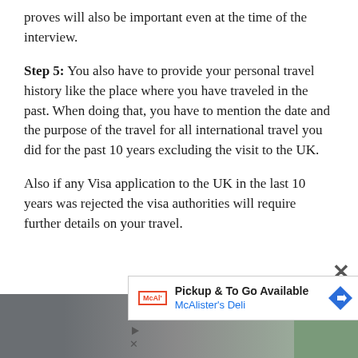proves will also be important even at the time of the interview.
Step 5: You also have to provide your personal travel history like the place where you have traveled in the past. When doing that, you have to mention the date and the purpose of the travel for all international travel you did for the past 10 years excluding the visit to the UK.
Also if any Visa application to the UK in the last 10 years was rejected the visa authorities will require further details on your travel.
[Figure (photo): Advertisement overlay: McAlister's Deli Pickup & To Go Available ad, with logo, text, and directional diamond arrow icon. Below is a partial image strip showing building/outdoor photos.]